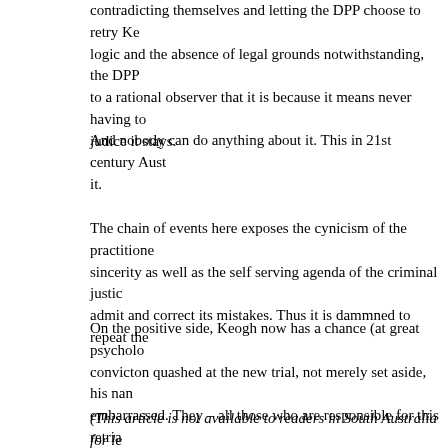contradicting themselves and letting the DPP choose to retry Ke logic and the absence of legal grounds notwithstanding, the DPP to a rational observer that it is because it means never having to judice it stays.
And nobody can do anything about it. This in 21st century Aust it.
The chain of events here exposes the cynicism of the practitione sincerity as well as the self serving agenda of the criminal justic admit and correct its mistakes. Thus it is dammned to repeat the
On the positive side, Keogh now has a chance (at great psycholo convicton quashed at the new trial, not merely set aside, his nan embarrassed. They – all those who are responsible for this retria profession, frankly.
(This article is not available to readers in South Australia for le